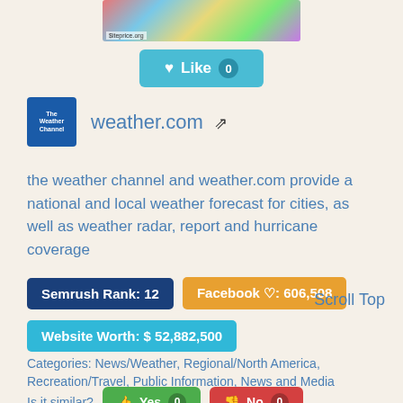[Figure (photo): Colorful cartoon/toy image at top with siteprice.org watermark]
♥ Like 0
[Figure (logo): The Weather Channel blue square logo]
weather.com ↗
the weather channel and weather.com provide a national and local weather forecast for cities, as well as weather radar, report and hurricane coverage
Semrush Rank: 12
Facebook ♡: 606,508
Scroll Top
Website Worth: $ 52,882,500
Categories: News/Weather, Regional/North America, Recreation/Travel, Public Information, News and Media
Is it similar? Yes 0 No 0